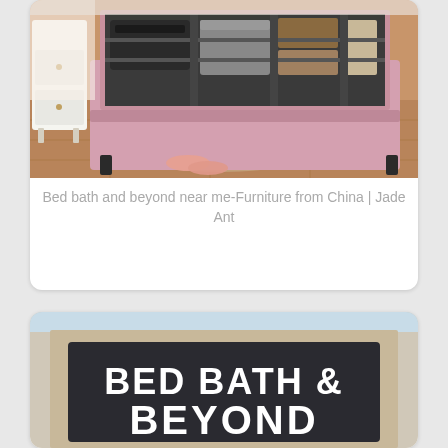[Figure (photo): Photo of a pink upholstered storage bed with the mattress base lifted up revealing stored items inside including bags and textiles. A pair of pink slippers sits on a rug beside the bed. White furniture visible in background on wooden floor.]
Bed bath and beyond near me-Furniture from China | Jade Ant
[Figure (photo): Photo of a Bed Bath & Beyond store sign. Dark background with bold white capital letters reading BED BATH & BEYOND. Beige/tan store exterior framing visible around the sign, light blue sky visible at top.]